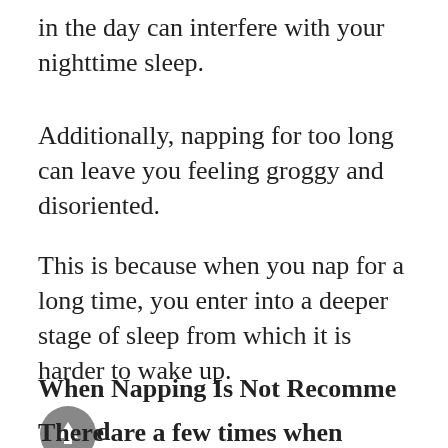in the day can interfere with your nighttime sleep.
Additionally, napping for too long can leave you feeling groggy and disoriented.
This is because when you nap for a long time, you enter into a deeper stage of sleep from which it is harder to wake up.
When Napping Is Not Recommended
There are a few times when